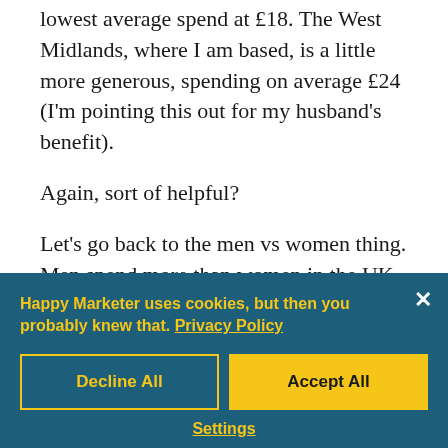lowest average spend at £18. The West Midlands, where I am based, is a little more generous, spending on average £24 (I'm pointing this out for my husband's benefit).
Again, sort of helpful?
Let's go back to the men vs women thing. Men spend more than women in the UK, spending on average £35, with one in ten spending more than £75. Women on the other hand...
Happy Marketer uses cookies, but then you probably knew that. Privacy Policy
Decline All
Accept All
Settings